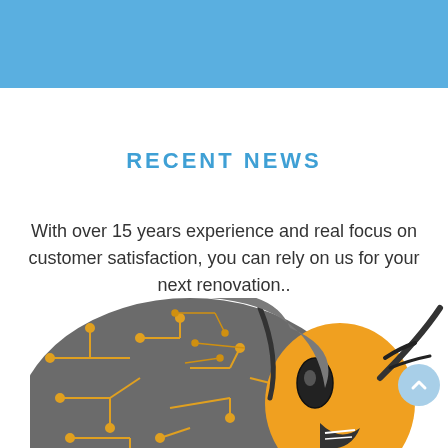[Figure (illustration): Blue header banner at the top of the page]
RECENT NEWS
With over 15 years experience and real focus on customer satisfaction, you can rely on us for your next renovation..
[Figure (illustration): Cartoon illustration of a bee or wasp character with a circuit-board patterned body in grey and yellow/orange tones, shown from the mid-section upward, with a raised arm/leg]